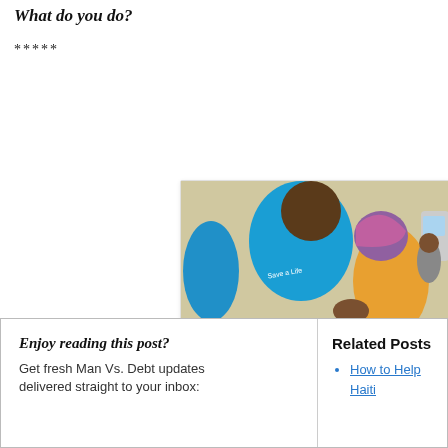What do you do?
*****
[Figure (photo): Photo of a person in a blue 'Save a Life' t-shirt bending toward an elderly woman wearing a colorful headscarf and clothing, outdoors in a dry landscape]
From Minnesota to East Afr…
ARAHA
Learn Mo…
Enjoy reading this post?
Get fresh Man Vs. Debt updates delivered straight to your inbox:
Related Posts
How to Help Haiti